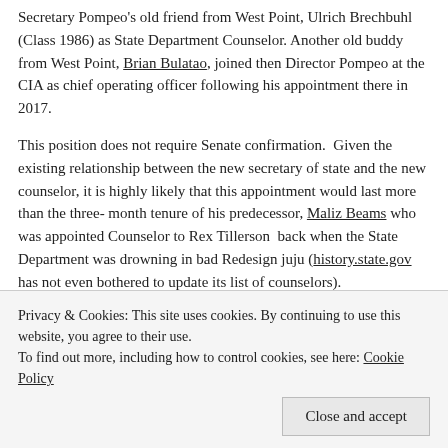Secretary Pompeo's old friend from West Point, Ulrich Brechbuhl (Class 1986) as State Department Counselor. Another old buddy from West Point, Brian Bulatao, joined then Director Pompeo at the CIA as chief operating officer following his appointment there in 2017.
This position does not require Senate confirmation.  Given the existing relationship between the new secretary of state and the new counselor, it is highly likely that this appointment would last more than the three-month tenure of his predecessor, Maliz Beams who was appointed Counselor to Rex Tillerson  back when the State Department was drowning in bad Redesign juju (history.state.gov has not even bothered to update its list of counselors).
History.state.gov notes that the Counselor, who currently under law holds rank equivalent to an Under Secretary of State (P.L. 98-164; 97 Stat. 1017), serves as an adviser to the Secretary of State. The Counselor's
Privacy & Cookies: This site uses cookies. By continuing to use this website, you agree to their use.
To find out more, including how to control cookies, see here: Cookie Policy